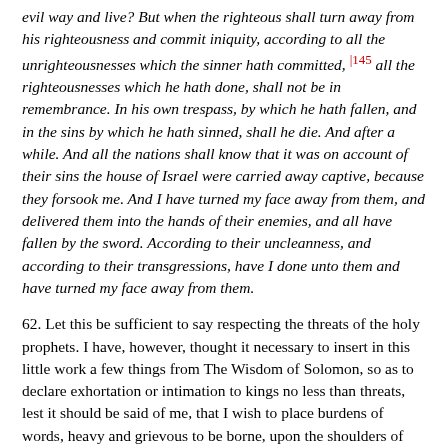evil way and live? But when the righteous shall turn away from his righteousness and commit iniquity, according to all the unrighteousnesses which the sinner hath committed, |145 all the righteousnesses which he hath done, shall not be in remembrance. In his own trespass, by which he hath fallen, and in the sins by which he hath sinned, shall he die. And after a while. And all the nations shall know that it was on account of their sins the house of Israel were carried away captive, because they forsook me. And I have turned my face away from them, and delivered them into the hands of their enemies, and all have fallen by the sword. According to their uncleanness, and according to their transgressions, have I done unto them and have turned my face away from them.
62. Let this be sufficient to say respecting the threats of the holy prophets. I have, however, thought it necessary to insert in this little work a few things from The Wisdom of Solomon, so as to declare exhortation or intimation to kings no less than threats, lest it should be said of me, that I wish to place burdens of words, heavy and grievous to be borne, upon the shoulders of men, but am unwilling to move them with my finger, that is, by a word of consolation. Let us hear, therefore, what the prophet hath said. Love righteousness, he says, ye that judge the earth. This one testimony, if it were kept with the whole heart, would abundantly suffice to set right the rulers of the land. For if they had loved righteousness, they would also certainly love the fountain, as it